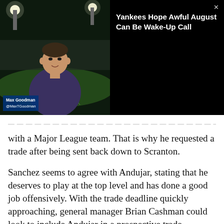[Figure (screenshot): Video thumbnail showing a reporter (Max Goodman, @MaxTGoodman) standing in front of a baseball stadium at night, with a dark panel to the right showing the video title.]
Yankees Hope Awful August Can Be Wake-Up Call
...with a Major League team. That is why he requested a trade after being sent back down to Scranton.
Sanchez seems to agree with Andujar, stating that he deserves to play at the top level and has done a good job offensively. With the trade deadline quickly approaching, general manager Brian Cashman could look to include Andujar in a prospective trade, granting his wish. However, given he’s about to hit arbitration this upcoming off-season, his value is minimal.